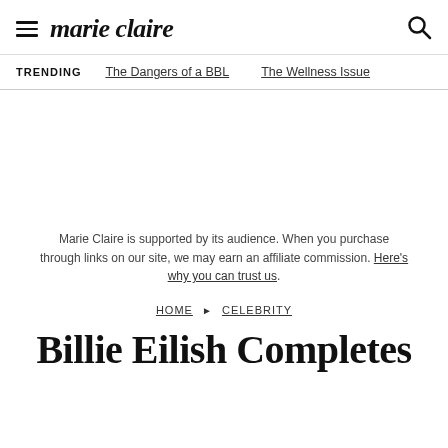marie claire
TRENDING   The Dangers of a BBL   The Wellness Issue
Marie Claire is supported by its audience. When you purchase through links on our site, we may earn an affiliate commission. Here's why you can trust us.
HOME > CELEBRITY
Billie Eilish Completes